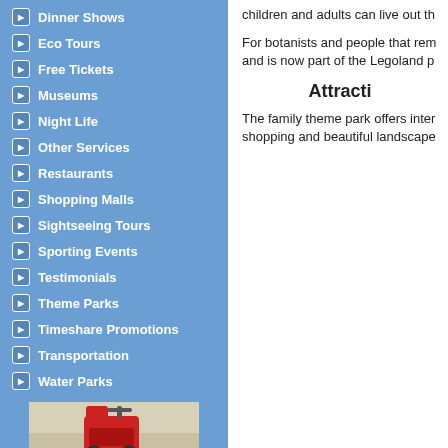Dinner Shows
Eco Tours
Free Tickets
Museums
Night Life
Other Services
Restaurants
Shopping Malls
Sightseeing Tours
Sporting Events
Testimonials
Theme Parks
Timeshare Promotions
Transportation
Water Parks
[Figure (photo): Photo of a red chair or ride vehicle in an outdoor setting]
children and adults can live out th...
For botanists and people that rem... and is now part of the Legoland p...
Attracti...
The family theme park offers inter... shopping and beautiful landscape...